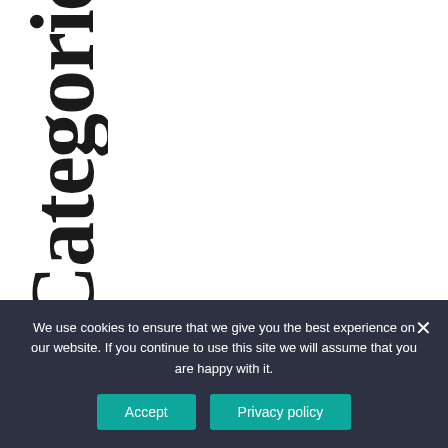Categories
We use cookies to ensure that we give you the best experience on our website. If you continue to use this site we will assume that you are happy with it.
Accept
Privacy policy